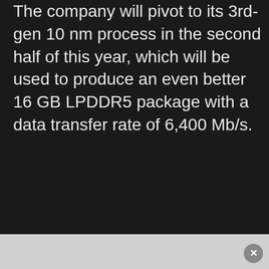The company will pivot to its 3rd-gen 10 nm process in the second half of this year, which will be used to produce an even better 16 GB LPDDR5 package with a data transfer rate of 6,400 Mb/s.